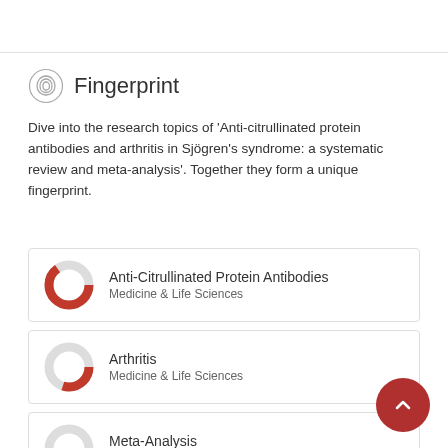Fingerprint
Dive into the research topics of 'Anti-citrullinated protein antibodies and arthritis in Sjögren's syndrome: a systematic review and meta-analysis'. Together they form a unique fingerprint.
Anti-Citrullinated Protein Antibodies — Medicine & Life Sciences
Arthritis — Medicine & Life Sciences
Meta-Analysis — Medicine & Life Sciences